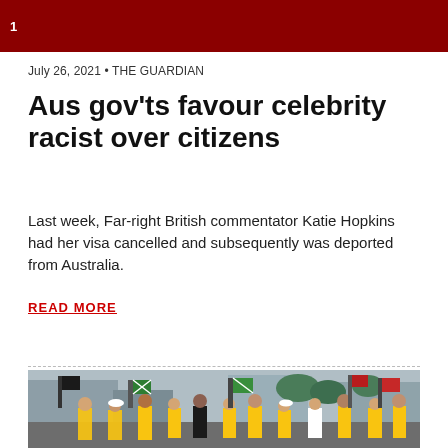1
July 26, 2021 • THE GUARDIAN
Aus gov'ts favour celebrity racist over citizens
Last week, Far-right British commentator Katie Hopkins had her visa cancelled and subsequently was deported from Australia.
READ MORE
[Figure (photo): A crowd of protesters marching in a city street, many wearing yellow high-visibility vests and carrying flags including green union flags and black flags. Buildings and trees are visible in the background.]